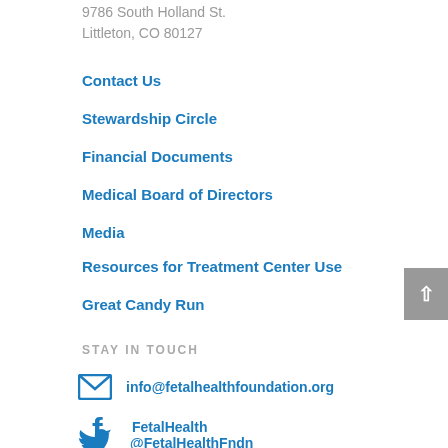9786 South Holland St.
Littleton, CO 80127
Contact Us
Stewardship Circle
Financial Documents
Medical Board of Directors
Media
Resources for Treatment Center Use
Great Candy Run
STAY IN TOUCH
info@fetalhealthfoundation.org
FetalHealth
@FetalHealthFndn